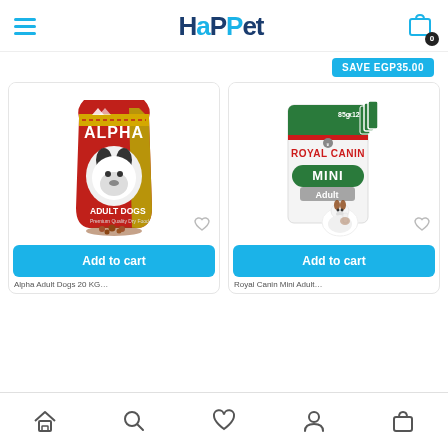HaPPet — mobile app header with hamburger menu and cart icon (badge: 0)
SAVE EGP35.00
[Figure (photo): Alpha Adult Dogs dry dog food bag — red and gold packaging with husky dog image]
[Figure (photo): Royal Canin Mini Adult wet dog food pouches — 85g x12, white and green packaging with Jack Russell terrier]
Add to cart
Add to cart
Bottom navigation bar with home, search, wishlist, account, and cart icons